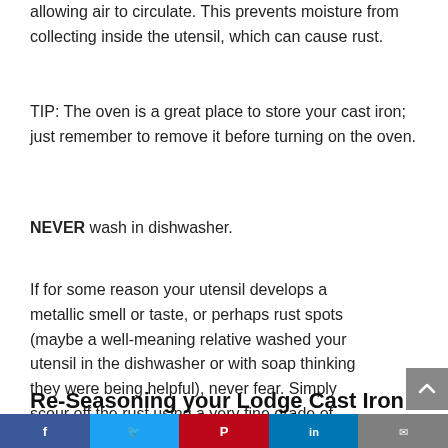allowing air to circulate. This prevents moisture from collecting inside the utensil, which can cause rust.
TIP: The oven is a great place to store your cast iron; just remember to remove it before turning on the oven.
NEVER wash in dishwasher.
If for some reason your utensil develops a metallic smell or taste, or perhaps rust spots (maybe a well-meaning relative washed your utensil in the dishwasher or with soap thinking they were being helpful), never fear. Simply scour off the rust using a very fine grade of sandpaper or steel wool and refer to our section on re-seasoning.
Re-Seasoning your Lodge Cast Iron